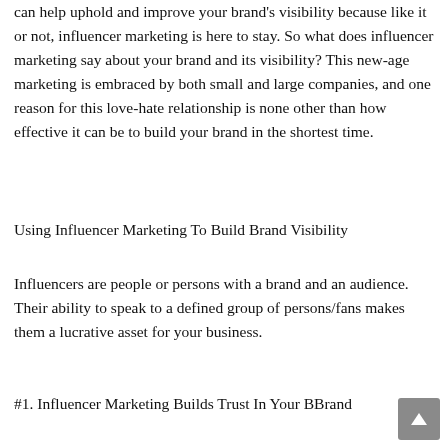can help uphold and improve your brand's visibility because like it or not, influencer marketing is here to stay. So what does influencer marketing say about your brand and its visibility? This new-age marketing is embraced by both small and large companies, and one reason for this love-hate relationship is none other than how effective it can be to build your brand in the shortest time.
Using Influencer Marketing To Build Brand Visibility
Influencers are people or persons with a brand and an audience. Their ability to speak to a defined group of persons/fans makes them a lucrative asset for your business.
#1. Influencer Marketing Builds Trust In Your BBrand